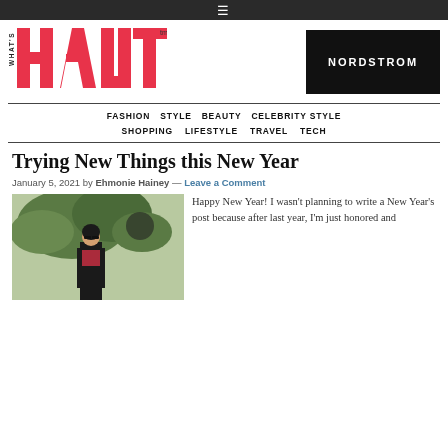≡
[Figure (logo): What's Haute magazine logo with large red HAUTE text and WHAT'S in vertical orientation]
[Figure (logo): Nordstrom advertisement logo on black background]
FASHION   STYLE   BEAUTY   CELEBRITY STYLE   SHOPPING   LIFESTYLE   TRAVEL   TECH
Trying New Things this New Year
January 5, 2021 by Ehmonie Hainey — Leave a Comment
[Figure (photo): Woman with sunglasses outdoors near trees, wearing a dark jacket]
Happy New Year! I wasn't planning to write a New Year's post because after last year, I'm just honored and